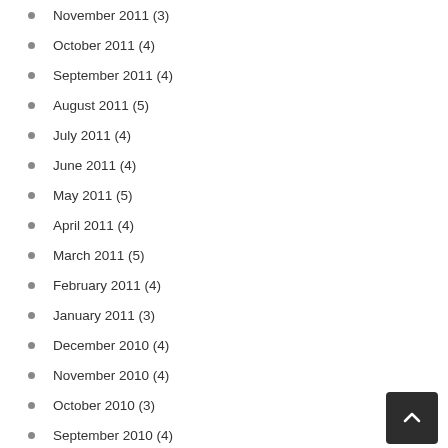November 2011 (3)
October 2011 (4)
September 2011 (4)
August 2011 (5)
July 2011 (4)
June 2011 (4)
May 2011 (5)
April 2011 (4)
March 2011 (5)
February 2011 (4)
January 2011 (3)
December 2010 (4)
November 2010 (4)
October 2010 (3)
September 2010 (4)
August 2010 (4)
July 2010 (4)